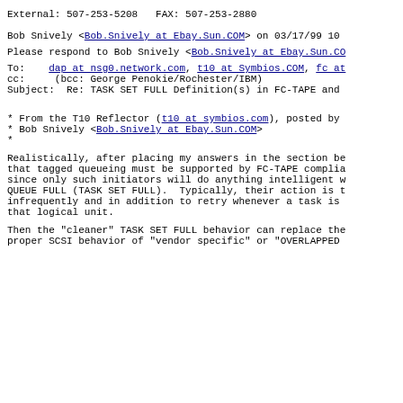External: 507-253-5208   FAX: 507-253-2880
Bob Snively <Bob.Snively at Ebay.Sun.COM> on 03/17/99 10
Please respond to Bob Snively <Bob.Snively at Ebay.Sun.CO
To:    dap at nsg0.network.com, t10 at Symbios.COM, fc at
cc:    (bcc: George Penokie/Rochester/IBM)
Subject:  Re: TASK SET FULL Definition(s) in FC-TAPE and
* From the T10 Reflector (t10 at symbios.com), posted by
* Bob Snively <Bob.Snively at Ebay.Sun.COM>
*
Realistically, after placing my answers in the section be
that tagged queueing must be supported by FC-TAPE complia
since only such initiators will do anything intelligent w
QUEUE FULL (TASK SET FULL).  Typically, their action is t
infrequently and in addition to retry whenever a task is
that logical unit.
Then the "cleaner" TASK SET FULL behavior can replace the
proper SCSI behavior of "vendor specific" or "OVERLAPPED